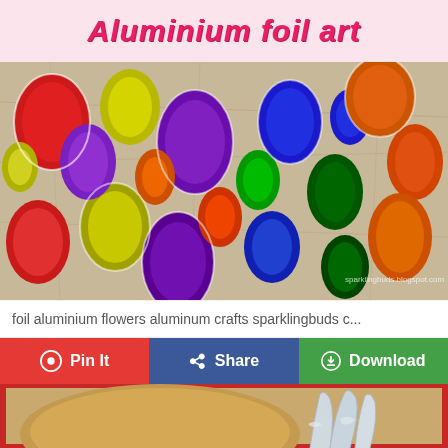Aluminium foil art
[Figure (photo): Aluminium foil art showing colorful painted oval shapes on textured foil surface with watermark sparklingbuds.blogspot.com]
foil aluminium flowers aluminum crafts sparklingbuds c...
Pin It   Share   Download
[Figure (photo): Aluminium foil sculpture of a figure on a round wooden board, with red border, classroom art project]